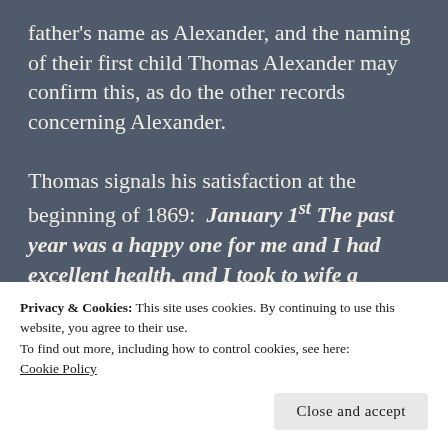father's name as Alexander, and the naming of their first child Thomas Alexander may confirm this, as do the other records concerning Alexander.

Thomas signals his satisfaction at the beginning of 1869:  January 1st The past year was a happy one for me and I had excellent health, and I took to wife a daughter of 'Auld Reekie'. It was an unusually hot summer, about the hottest for many years, 90 or ever in the shade.
Privacy & Cookies: This site uses cookies. By continuing to use this website, you agree to their use.
To find out more, including how to control cookies, see here:
Cookie Policy